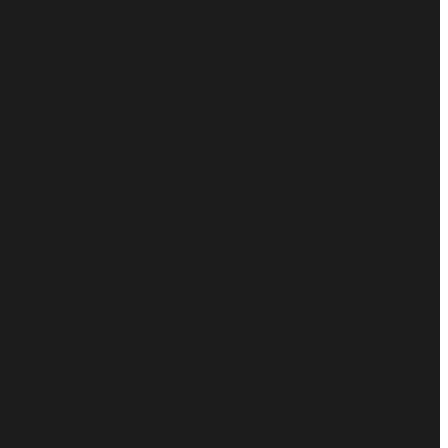| # | Artist | Title |
| --- | --- | --- |
| 297 | Paul Whiteman | Garden o... |
| 298 | Paul Whiteman | The Duke... |
| 299 | Paul Whiteman | Steppin... |
| 300 | Paul Whiteman | California, H... |
| 301 | Paul Whiteman | Yankee R... |
| 302 | Paul Whiteman | Sweethe... |
| 303 | Paul Whiteman | Falll... |
| 304 | Paul Whiteman | Burning... |
| 305 | Paul Whiteman | That American... |
| 306 | Paul Whiteman | Cut Yourself a ... |
| 307 | Paul Whiteman | Mama Lo... |
| 308 | Paul Whiteman | There's No Place... |
| 309 | Paul Whiteman | When I Go A... |